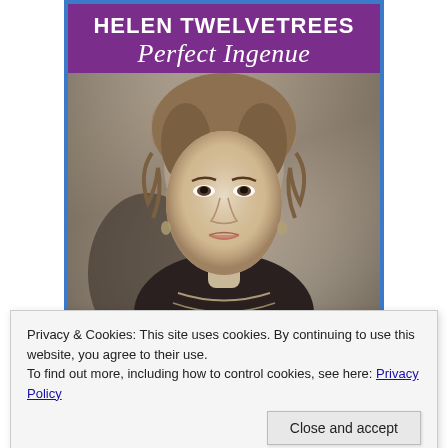[Figure (illustration): Book cover for 'Helen Twelvetrees: Perfect Ingenue'. Purple background with blue border. White bold text 'HELEN TWELVETREES' at top, white italic script 'Perfect Ingenue' below. Center shows a black-and-white vintage portrait photo of Helen Twelvetrees, a 1930s actress with curly hair, pearl necklaces, and dark dress, looking upward.]
Privacy & Cookies: This site uses cookies. By continuing to use this website, you agree to their use.
To find out more, including how to control cookies, see here: Privacy Policy
Close and accept